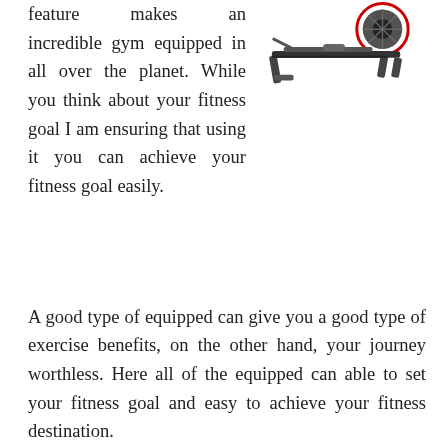[Figure (illustration): Rowing exercise machine (air rower) shown from the side, black frame with red fan wheel]
feature makes an incredible gym equipped in all over the planet. While you think about your fitness goal I am ensuring that using it you can achieve your fitness goal easily.
A good type of equipped can give you a good type of exercise benefits, on the other hand, your journey worthless. Here all of the equipped can able to set your fitness goal and easy to achieve your fitness destination.
So, don't go anywhere pick up your favorite exercise equipped and start your fitness journey.